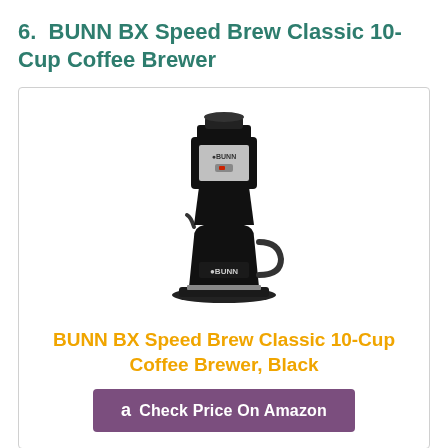6. BUNN BX Speed Brew Classic 10-Cup Coffee Brewer
[Figure (photo): BUNN BX Speed Brew Classic 10-Cup Coffee Brewer, black color, product photo on white background]
BUNN BX Speed Brew Classic 10-Cup Coffee Brewer, Black
Check Price On Amazon